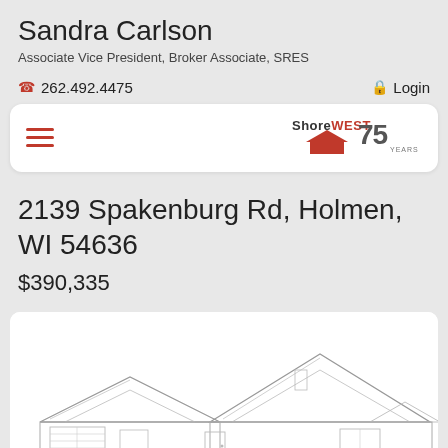Sandra Carlson
Associate Vice President, Broker Associate, SRES
262.492.4475
Login
[Figure (logo): ShoreWest Realtors logo with 75 Years text]
2139 Spakenburg Rd, Holmen, WI 54636
$390,335
[Figure (illustration): Architectural front elevation drawing of a single-story ranch-style house]